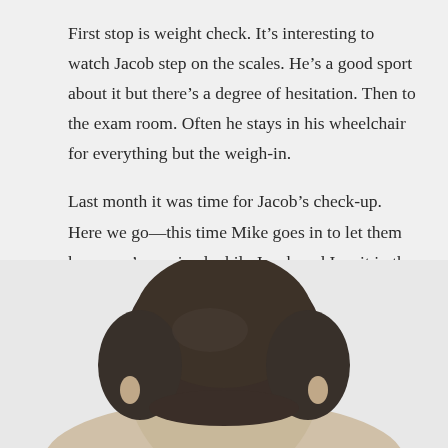First stop is weight check. It’s interesting to watch Jacob step on the scales. He’s a good sport about it but there’s a degree of hesitation. Then to the exam room. Often he stays in his wheelchair for everything but the weigh-in.
Last month it was time for Jacob’s check-up. Here we go—this time Mike goes in to let them know we’ve arrived while Jacob and I wait in the van watching a DVD. Almost immediately Mike is returning to tell us to come on in. We did and they were ready.
[Figure (photo): Back of a person's head with short dark hair, appearing to be a young person or child, photographed from behind against a light background.]